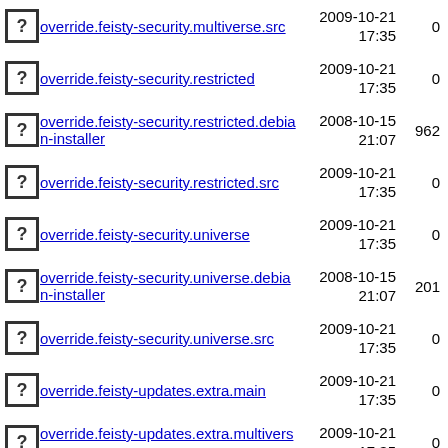override.feisty-security.multiverse.src | 2009-10-21 17:35 | 0
override.feisty-security.restricted | 2009-10-21 17:35 | 0
override.feisty-security.restricted.debian-installer | 2008-10-15 21:07 | 962
override.feisty-security.restricted.src | 2009-10-21 17:35 | 0
override.feisty-security.universe | 2009-10-21 17:35 | 0
override.feisty-security.universe.debian-installer | 2008-10-15 21:07 | 201
override.feisty-security.universe.src | 2009-10-21 17:35 | 0
override.feisty-updates.extra.main | 2009-10-21 17:35 | 0
override.feisty-updates.extra.multiverse | 2009-10-21 17:35 | 0
override.feisty-updates.extra.restricted | 2009-10-21 17:35 | 0
override.feisty-updates.extra.universe | 2009-10-21 17:35 | 0
override.feisty-... | 2009-10-...